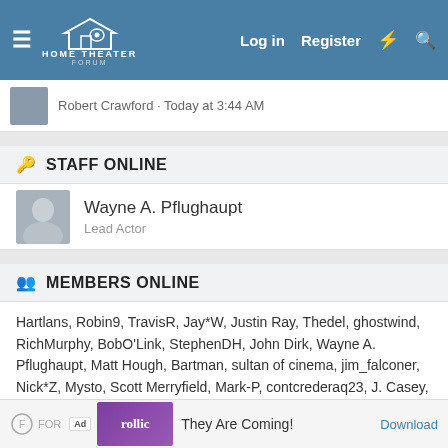Home Theater Forum — Log in | Register
Robert Crawford · Today at 3:44 AM
STAFF ONLINE
Wayne A. Pflughaupt
Lead Actor
MEMBERS ONLINE
Hartlans, Robin9, TravisR, Jay*W, Justin Ray, Thedel, ghostwind, RichMurphy, BobO'Link, StephenDH, John Dirk, Wayne A. Pflughaupt, Matt Hough, Bartman, sultan of cinema, jim_falconer, Nick*Z, Mysto, Scott Merryfield, Mark-P, contcrederaq23, J. Casey, Jeff Flugel
Total: 442 (members: 27, guests: 415)
[Figure (screenshot): Ad banner for Rollic game app — 'They Are Coming!' with Download link]